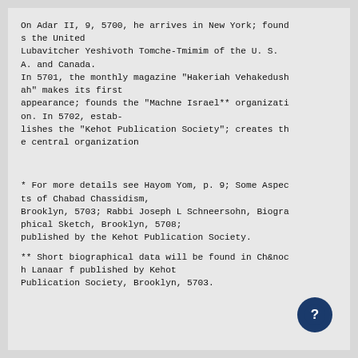On Adar II, 9, 5700, he arrives in New York; founds the United Lubavitcher Yeshivoth Tomche-Tmimim of the U. S. A. and Canada. In 5701, the monthly magazine "Hakeriah Vehakedushah" makes its first appearance; founds the "Machne Israel** organization. In 5702, establishes the "Kehot Publication Society"; creates the central organization
* For more details see Hayom Yom, p. 9; Some Aspects of Chabad Chassidism, Brooklyn, 5703; Rabbi Joseph L Schneersohn, Biographical Sketch, Brooklyn, 5708; published by the Kehot Publication Society.
** Short biographical data will be found in Ch&noch Lanaar f published by Kehot Publication Society, Brooklyn, 5703.